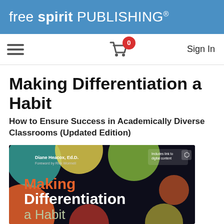free spirit PUBLISHING®
[Figure (screenshot): Navigation bar with hamburger menu icon, shopping cart with red badge showing 0, and Sign In link]
Making Differentiation a Habit
How to Ensure Success in Academically Diverse Classrooms (Updated Edition)
[Figure (photo): Book cover for 'Making Differentiation a Habit' by Diane Heacox, Ed.D., Foreword by Rick Wormell. Dark background with colorful circles (orange, yellow, green, teal). Title in orange/white/gray text. Includes link to digital content badge.]